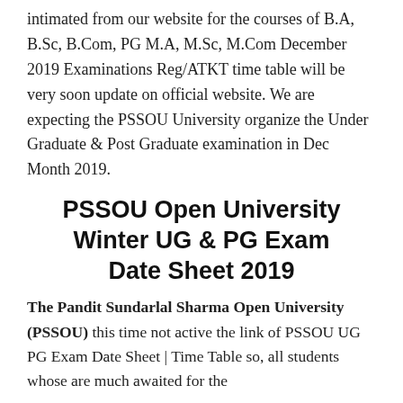intimated from our website for the courses of B.A, B.Sc, B.Com, PG M.A, M.Sc, M.Com December 2019 Examinations Reg/ATKT time table will be very soon update on official website. We are expecting the PSSOU University organize the Under Graduate & Post Graduate examination in Dec Month 2019.
PSSOU Open University Winter UG & PG Exam Date Sheet 2019
The Pandit Sundarlal Sharma Open University (PSSOU) this time not active the link of PSSOU UG PG Exam Date Sheet | Time Table so, all students whose are much awaited for the